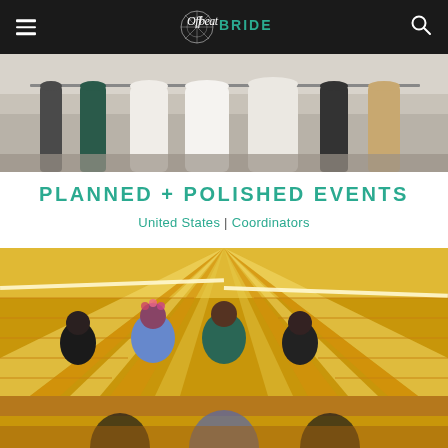Offbeat Bride — Navigation bar
[Figure (photo): Partial view of wedding dresses on a rack, showing lower portions of dresses in various colors including white and dark tones]
PLANNED + POLISHED EVENTS
United States | Coordinators
[Figure (photo): Group of four people standing in front of a dramatic yellow-and-white striped escalator hall, with the two center people wearing floral/patterned and teal outfits]
[Figure (photo): Partial bottom photo, appears to be a continuation of the escalator scene with people]